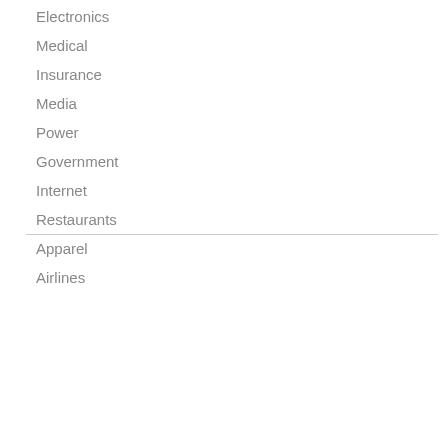Electronics
Medical
Insurance
Media
Power
Government
Internet
Restaurants
Apparel
Airlines